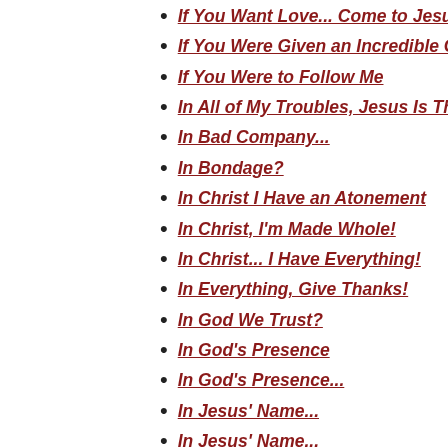If You Want Love... Come to Jesus!
If You Were Given an Incredible Gif
If You Were to Follow Me
In All of My Troubles, Jesus Is The
In Bad Company...
In Bondage?
In Christ I Have an Atonement
In Christ, I'm Made Whole!
In Christ... I Have Everything!
In Everything, Give Thanks!
In God We Trust?
In God's Presence
In God's Presence...
In Jesus' Name...
In Jesus' Name...
In Jesus, My Life Is Secure!
In Jesus...
In Love with My Wife!
In Lust... Or In Love?
In Our Circumstances... Jesus Is Th
In Our Trouble, Jesus Is There!
In The Last Days...
In the Midst of Our Troubles God Is
In Ungodliness We Trust?
In You Is God's Reflection!
In You...
In Your Despair, Have You Tried Pra
In Your Trials, Call Out To Jesus!
Instead of Loving Me as Christ Does
Is Christ Honored In This Church?